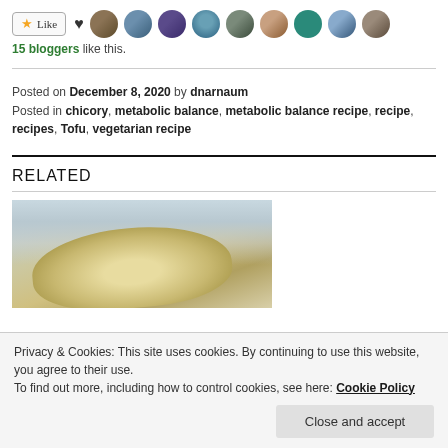[Figure (other): Like button bar with heart icon and 9 blogger avatar thumbnails]
15 bloggers like this.
Posted on December 8, 2020 by dnarnaum
Posted in chicory, metabolic balance, metabolic balance recipe, recipe, recipes, Tofu, vegetarian recipe
RELATED
[Figure (photo): Food photo showing what appears to be chicory or similar vegetable on a plate]
Privacy & Cookies: This site uses cookies. By continuing to use this website, you agree to their use.
To find out more, including how to control cookies, see here: Cookie Policy